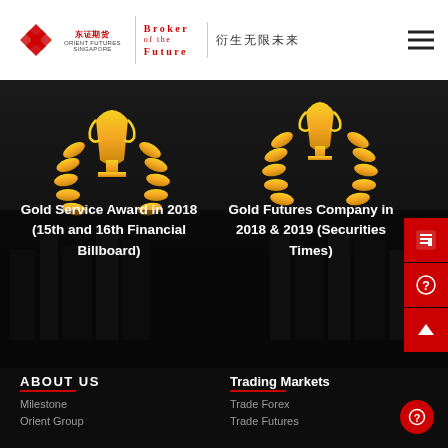[Figure (logo): East Asia Futures / Orient Futures Singapore logo with red geometric icon, broker of the future tagline, and Chinese slogan 衍生无限未来]
[Figure (photo): Dark aerial city skyline background with gold trophy and laurel wreath awards imagery]
Gold Service Award in 2018 (15th and 16th Financial Billboard)
Gold Futures Company in 2018 & 2019 (Securities Times)
[Figure (infographic): Three red side navigation buttons: news/document icon, question mark icon, and up arrow icon]
ABOUT US
Milestone
Orient Group
Trading Markets
Trade Forex
Trade Futures